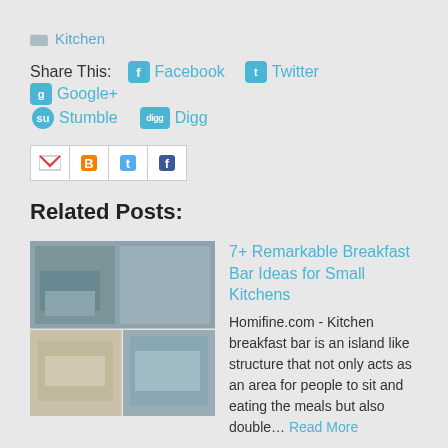Kitchen
Share This: Facebook Twitter Google+ Stumble Digg
[Figure (other): Email/social sharing buttons: Gmail, Blogger, Twitter, Facebook icons in white boxes with grey borders]
Related Posts:
[Figure (photo): Thumbnail collage of kitchen breakfast bar images]
7+ Remarkable Breakfast Bar Ideas for Small Kitchens
Homifine.com - Kitchen breakfast bar is an island like structure that not only acts as an area for people to sit and eating the meals but also double… Read More